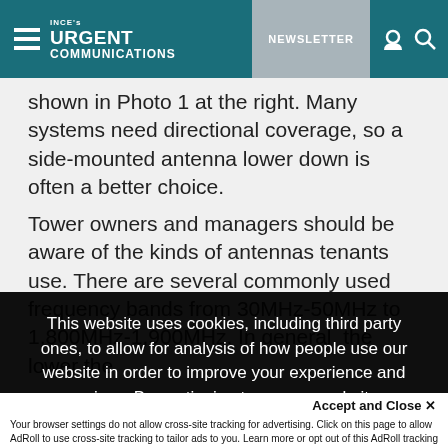INCE's URGENT COMMUNICATIONS | NEWSLETTER
shown in Photo 1 at the right. Many systems need directional coverage, so a side-mounted antenna lower down is often a better choice.
Tower owners and managers should be aware of the kinds of antennas tenants use. There are several commonly used frequency bands from 30MHz-50MHz to 1,800MHz-1,900MHz. In general, the lower the
This website uses cookies, including third party ones, to allow for analysis of how people use our website in order to improve your experience and our services. By continuing to use our website, you agree to the use of such cookies. Click here for more information on our Cookie Policy and Privacy Policy
Accept and Close ✕
Your browser settings do not allow cross-site tracking for advertising. Click on this page to allow AdRoll to use cross-site tracking to tailor ads to you. Learn more or opt out of this AdRoll tracking by clicking here. This message only appears once.